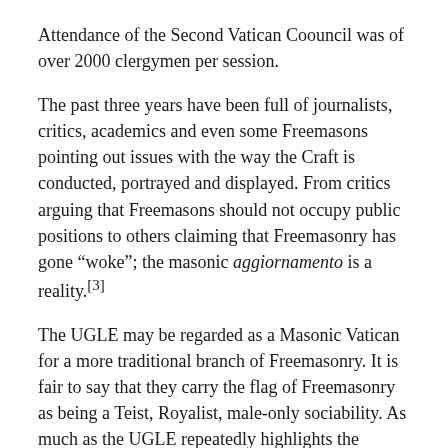Attendance of the Second Vatican Coouncil was of over 2000 clergymen per session.
The past three years have been full of journalists, critics, academics and even some Freemasons pointing out issues with the way the Craft is conducted, portrayed and displayed. From critics arguing that Freemasons should not occupy public positions to others claiming that Freemasonry has gone “woke”; the masonic aggiornamento is a reality.[3]
The UGLE may be regarded as a Masonic Vatican for a more traditional branch of Freemasonry. It is fair to say that they carry the flag of Freemasonry as being a Teist, Royalist, male-only sociability. As much as the UGLE repeatedly highlights the diversity of masonic institutions in England (Order of Women Freemasons (OWF) and the Honourable Fraternity of Ancient Freemasons (HFAF) and so on ), there is little doubt that